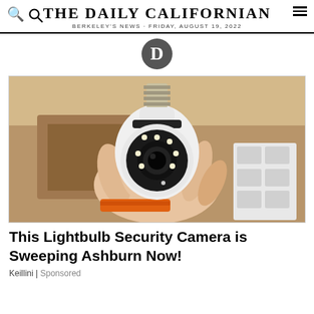THE DAILY CALIFORNIAN
BERKELEY'S NEWS · FRIDAY, AUGUST 19, 2022
[Figure (logo): Disqus logo — circular speech bubble with letter D]
[Figure (photo): A hand holding a white lightbulb-shaped security camera with LED ring and black camera lens, shown against a wooden shelf background with orange accessory and white hardware boxes visible]
This Lightbulb Security Camera is Sweeping Ashburn Now!
Keillini | Sponsored